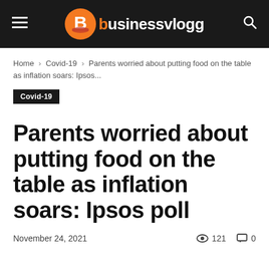Businessvlogg
Home › Covid-19 › Parents worried about putting food on the table as inflation soars: Ipsos...
Covid-19
Parents worried about putting food on the table as inflation soars: Ipsos poll
November 24, 2021  121  0